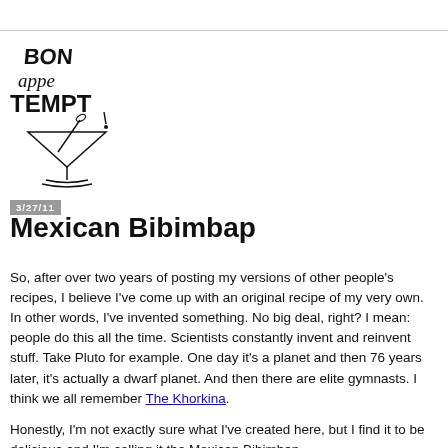[Figure (logo): Bon Appetempt blog logo: stylized text reading 'BON appe TEMPT' with a martini/cocktail glass pedestal beneath, hand-drawn illustration style in black and white]
3/27/11
Mexican Bibimbap
So, after over two years of posting my versions of other people's recipes, I believe I've come up with an original recipe of my very own. In other words, I've invented something. No big deal, right? I mean: people do this all the time. Scientists constantly invent and reinvent stuff. Take Pluto for example. One day it's a planet and then 76 years later, it's actually a dwarf planet. And then there are elite gymnasts. I think we all remember The Khorkina.
Honestly, I'm not exactly sure what I've created here, but I find it to be delicious and I'm calling it the Mexican Bibimbap.